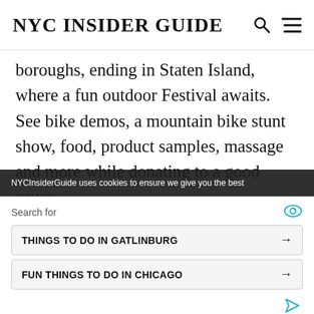NYC INSIDER GUIDE
boroughs, ending in Staten Island, where a fun outdoor Festival awaits. See bike demos, a mountain bike stunt show, food, product samples, massage and more while donating to a good cause.
More Info: www.bike.nyc
Back to Top of New York City Events Ma...
NYCInsiderGuide uses cookies to ensure we give you the best
Search for
THINGS TO DO IN GATLINBURG →
FUN THINGS TO DO IN CHICAGO →